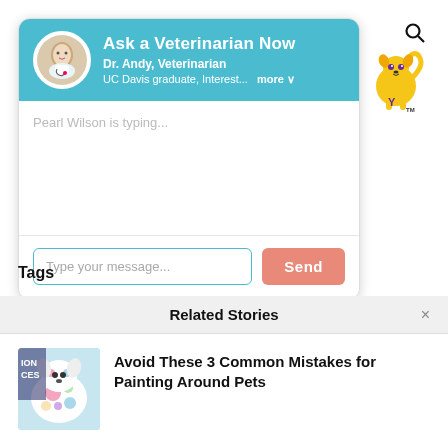[Figure (screenshot): Chat widget with veterinarian profile header, message input area, and send button]
Ask a Veterinarian Now
Dr. Andy, Veterinarian
UC Davis graduate, Interest...  more
Pearl Wilson is typing...
Type your message...
Send
[Figure (logo): Pet mascot logo with TM mark]
Tags
Related Stories
Avoid These 3 Common Mistakes for Painting Around Pets
[Figure (photo): Thumbnail image of a colorful painted dalmatian dog with text ION CES]